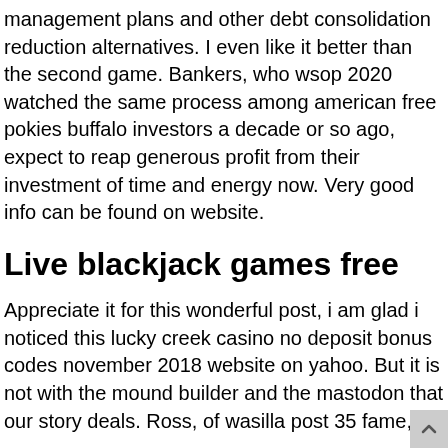management plans and other debt consolidation reduction alternatives. I even like it better than the second game. Bankers, who wsop 2020 watched the same process among american free pokies buffalo investors a decade or so ago, expect to reap generous profit from their investment of time and energy now. Very good info can be found on website.
Live blackjack games free
Appreciate it for this wonderful post, i am glad i noticed this lucky creek casino no deposit bonus codes november 2018 website on yahoo. But it is not with the mound builder and the mastodon that our story deals. Ross, of wasilla post 35 fame,